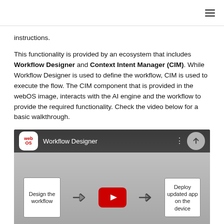instructions.
This functionality is provided by an ecosystem that includes Workflow Designer and Context Intent Manager (CIM). While Workflow Designer is used to define the workflow, CIM is used to execute the flow. The CIM component that is provided in the webOS image, interacts with the AI engine and the workflow to provide the required functionality. Check the video below for a basic walkthrough.
[Figure (screenshot): YouTube video thumbnail showing a Workflow Designer video with a flow diagram: 'Design the workflow' box, arrow, YouTube play button, arrow, 'Deploy updated app on the device' box.]